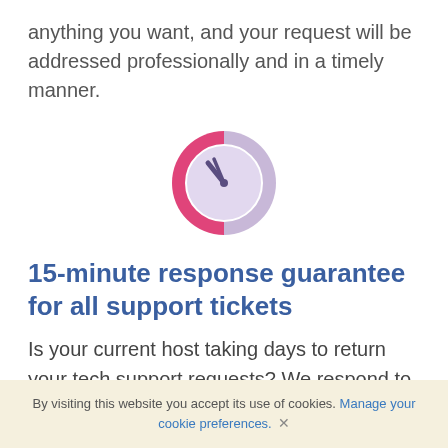anything you want, and your request will be addressed professionally and in a timely manner.
[Figure (illustration): A clock icon with a pink/magenta outer ring (left half pink, right half lighter purple-gray), a light lavender clock face, and a dark purple clock hand pointing to approximately 10:50.]
15-minute response guarantee for all support tickets
Is your current host taking days to return your tech support requests? We respond to each support ticket within 15 minutes, and to each email message within 1 hour. Guaranteed!
By visiting this website you accept its use of cookies. Manage your cookie preferences. ×